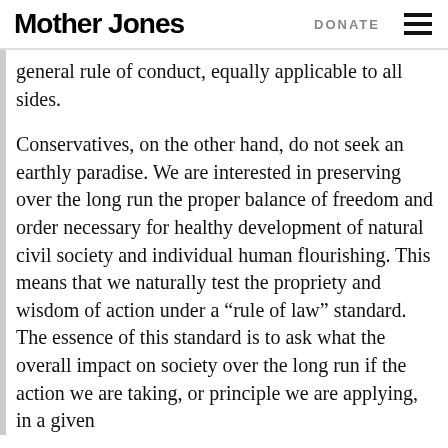Mother Jones   DONATE
general rule of conduct, equally applicable to all sides.
Conservatives, on the other hand, do not seek an earthly paradise. We are interested in preserving over the long run the proper balance of freedom and order necessary for healthy development of natural civil society and individual human flourishing. This means that we naturally test the propriety and wisdom of action under a “rule of law” standard. The essence of this standard is to ask what the overall impact on society over the long run if the action we are taking, or principle we are applying, in a given